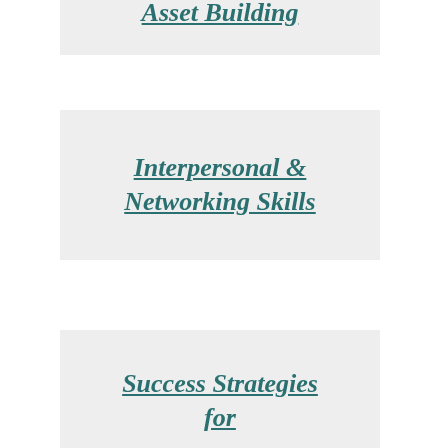Asset Building
Interpersonal & Networking Skills
Success Strategies for College & Career
Brand Yourself: You Are a Business